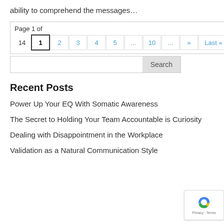ability to comprehend the messages…
Page 1 of 14  1  2  3  4  5  ...  10  ...  »  Last »
Power Up Your EQ With Somatic Awareness
The Secret to Holding Your Team Accountable is Curiosity
Dealing with Disappointment in the Workplace
Validation as a Natural Communication Style
Recent Posts